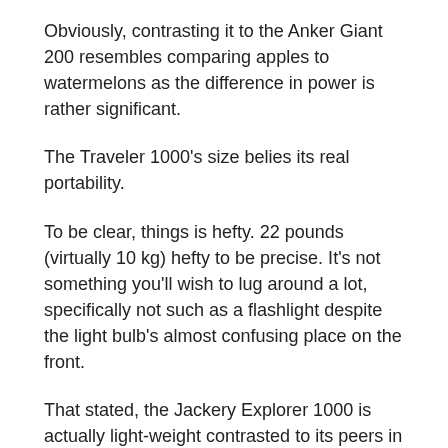Obviously, contrasting it to the Anker Giant 200 resembles comparing apples to watermelons as the difference in power is rather significant.
The Traveler 1000's size belies its real portability.
To be clear, things is hefty. 22 pounds (virtually 10 kg) hefty to be precise. It's not something you'll wish to lug around a lot, specifically not such as a flashlight despite the light bulb's almost confusing place on the front.
That stated, the Jackery Explorer 1000 is actually light-weight contrasted to its peers in the 1000W department, several of which consider 38 to 40 pounds.